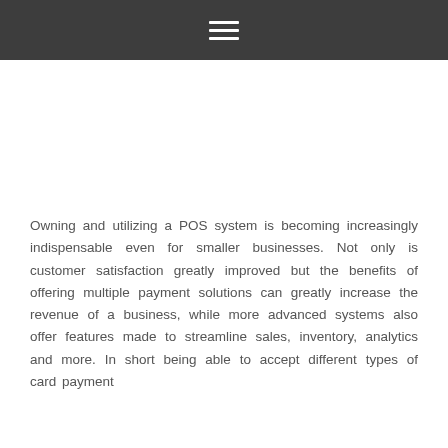≡
Owning and utilizing a POS system is becoming increasingly indispensable even for smaller businesses. Not only is customer satisfaction greatly improved but the benefits of offering multiple payment solutions can greatly increase the revenue of a business, while more advanced systems also offer features made to streamline sales, inventory, analytics and more. In short being able to accept different types of card payment